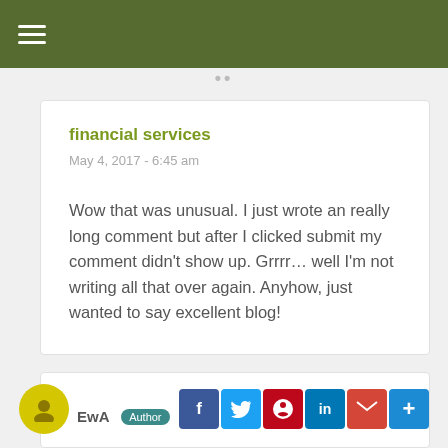≡ (navigation bar)
financial services
May 4, 2017 - 6:45 am
Wow that was unusual. I just wrote an really long comment but after I clicked submit my comment didn't show up. Grrrr… well I'm not writing all that over again. Anyhow, just wanted to say excellent blog!
EwA Author